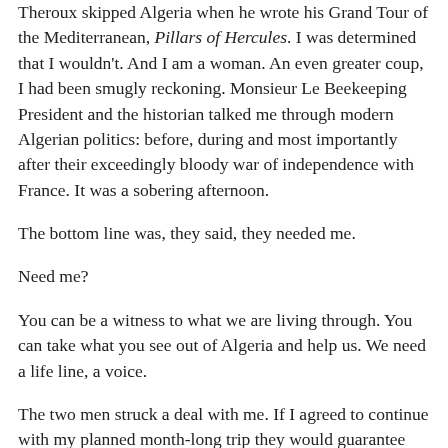Theroux skipped Algeria when he wrote his Grand Tour of the Mediterranean, Pillars of Hercules. I was determined that I wouldn't. And I am a woman. An even greater coup, I had been smugly reckoning. Monsieur Le Beekeeping President and the historian talked me through modern Algerian politics: before, during and most importantly after their exceedingly bloody war of independence with France. It was a sobering afternoon.
The bottom line was, they said, they needed me.
Need me?
You can be a witness to what we are living through. You can take what you see out of Algeria and help us. We need a life line, a voice.
The two men struck a deal with me. If I agreed to continue with my planned month-long trip they would guarantee hospitality and, as far as they were able, my security. It was a madness to accept, to stay on. American Express who serve as my travel insurance declared the country a high risk area. This meant if I returned home from an area declared